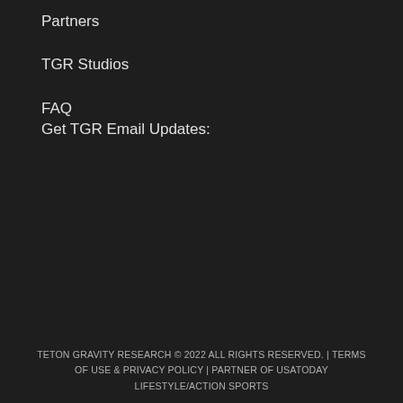Partners
TGR Studios
FAQ
Get TGR Email Updates:
TETON GRAVITY RESEARCH © 2022 ALL RIGHTS RESERVED. | TERMS OF USE & PRIVACY POLICY | PARTNER OF USATODAY LIFESTYLE/ACTION SPORTS